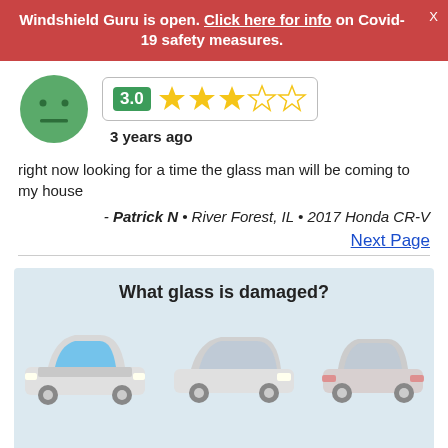Windshield Guru is open. Click here for info on Covid-19 safety measures.
[Figure (illustration): Green neutral face emoji avatar]
[Figure (infographic): Rating block showing 3.0 score with 3 filled stars and 2 empty stars]
3 years ago
right now looking for a time the glass man will be coming to my house
- Patrick N • River Forest, IL • 2017 Honda CR-V
Next Page
What glass is damaged?
[Figure (illustration): Three car illustrations showing front windshield (highlighted blue), side view, and rear view]
We use cookies to enhance your experience.